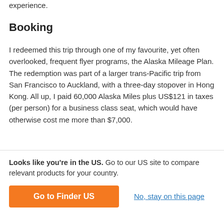experience.
Booking
I redeemed this trip through one of my favourite, yet often overlooked, frequent flyer programs, the Alaska Mileage Plan. The redemption was part of a larger trans-Pacific trip from San Francisco to Auckland, with a three-day stopover in Hong Kong. All up, I paid 60,000 Alaska Miles plus US$121 in taxes (per person) for a business class seat, which would have otherwise cost me more than $7,000.
[Figure (other): Gray placeholder box for an image or advertisement]
Looks like you're in the US. Go to our US site to compare relevant products for your country.
Go to Finder US
No, stay on this page